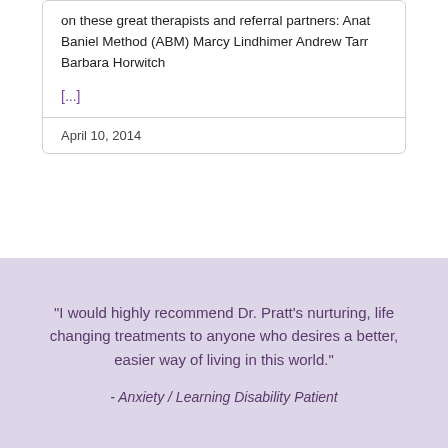on these great therapists and referral partners: Anat Baniel Method (ABM) Marcy Lindhimer Andrew Tarr Barbara Horwitch
[...]
April 10, 2014
"I would highly recommend Dr. Pratt’s nurturing, life changing treatments to anyone who desires a better, easier way of living in this world."
- Anxiety / Learning Disability Patient